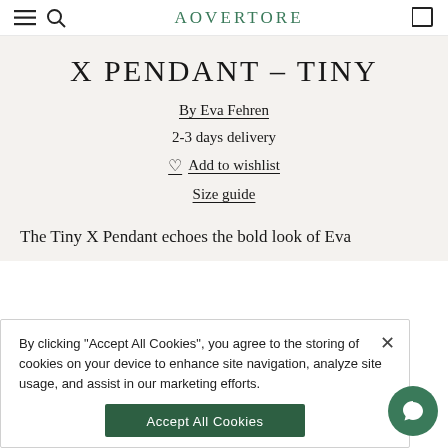AOVERTORE
X PENDANT – TINY
By Eva Fehren
2-3 days delivery
♡ Add to wishlist
Size guide
The Tiny X Pendant echoes the bold look of Eva
By clicking "Accept All Cookies", you agree to the storing of cookies on your device to enhance site navigation, analyze site usage, and assist in our marketing efforts.